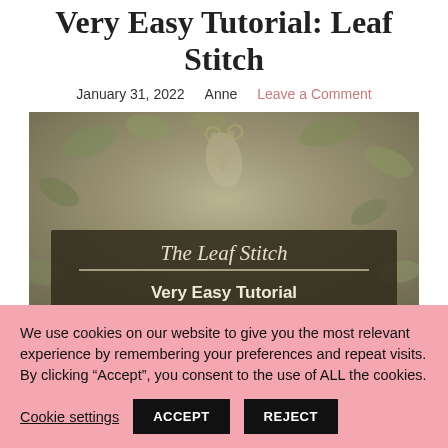Very Easy Tutorial: Leaf Stitch
January 31, 2022   Anne   Leave a Comment
[Figure (photo): Hero image of embroidery scissors and green leaves in background, with an overlay banner reading 'The Leaf Stitch' in italic script and 'Very Easy Tutorial' in bold sans-serif, on a dark olive/brown background panel.]
We use cookies on our website to give you the most relevant experience by remembering your preferences and repeat visits. By clicking “Accept”, you consent to the use of ALL the cookies.
Cookie settings   ACCEPT   REJECT